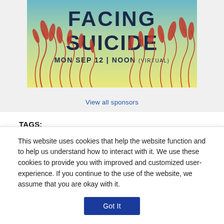[Figure (illustration): Event promotional banner showing 'FACING SUICIDE' in large dark text, 'MON SEP 12 | NOON (VIRTUAL)' below, with decorative red grass/reeds against a yellow-green to blue gradient sky background.]
View all sponsors
TAGS:
COVID-19 VACCINE
CORONAVIRUS
NORTHWESTERN UNIVERSITY
THOMAS MCDADE
This website uses cookies that help the website function and to help us understand how to interact with it. We use these cookies to provide you with improved and customized user-experience. If you continue to the use of the website, we assume that you are okay with it.
Got It